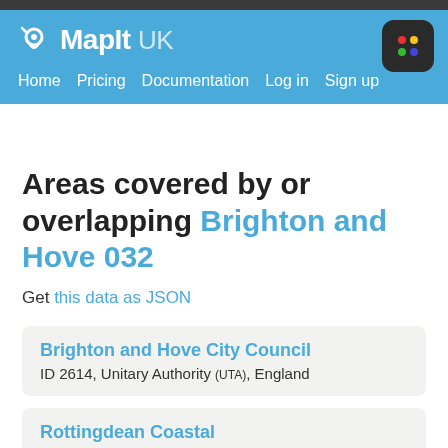MapIt UK — Home | Pricing | Documentation | Log in | Sign up
Areas covered by or overlapping Brighton and Hove 032
Get this data as JSON
Brighton and Hove City Council
ID 2614, Unitary Authority (UTA), England
Rottingdean Coastal